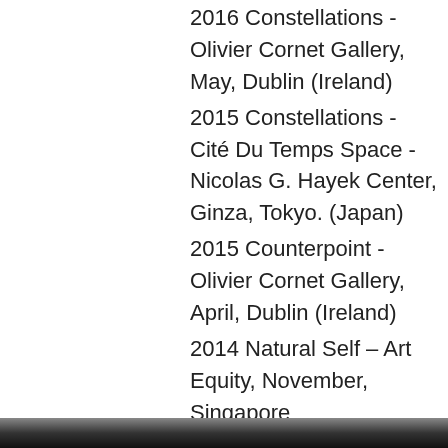2016 Constellations - Olivier Cornet Gallery, May, Dublin (Ireland)
2015 Constellations - Cité Du Temps Space - Nicolas G. Hayek Center, Ginza, Tokyo. (Japan)
2015 Counterpoint - Olivier Cornet Gallery, April, Dublin (Ireland)
2014 Natural Self – Art Equity, November, Singapore
2014 Paisaje Condicionado - Centro del Carmen, Museo de Bellas Artes de Valencia (Spain)
2014 Paisaje Condicionado - CDAN Centro de Arte y Naturaleza, Fundación Beulas, Huesca (Spain)
2014 Paisaje Condicionado – Las